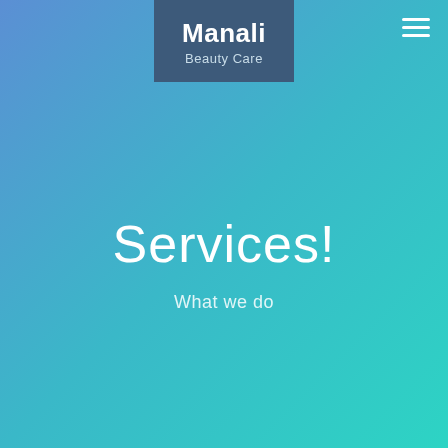[Figure (logo): Manali Beauty Care logo — white text on dark blue-grey background rectangle at top center]
Services!
What we do